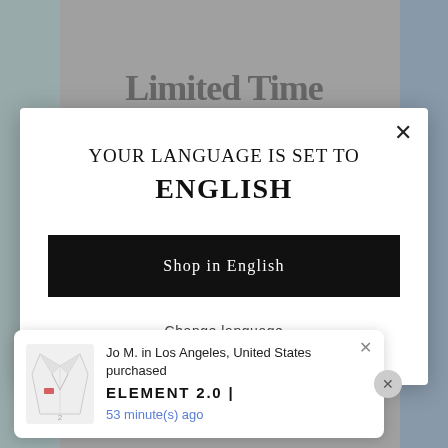[Figure (screenshot): Dimmed webpage background with partially visible 'Limited Time' heading]
YOUR LANGUAGE IS SET TO
ENGLISH
Shop in English
Change language
Jo M. in Los Angeles, United States purchased
ELEMENT 2.0 |
53 minute(s) ago